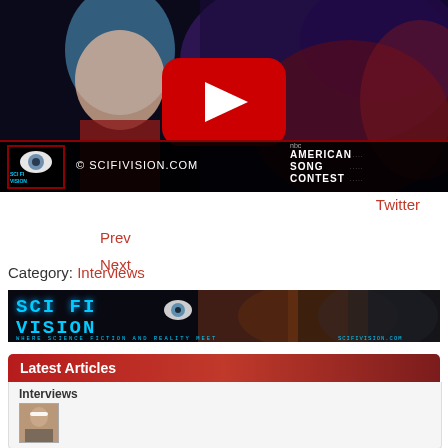[Figure (screenshot): YouTube video thumbnail showing a woman with blue hair and red outfit, with YouTube play button overlay. NBC American Song Contest branding in bottom right. SciFiVision.com watermark bar across the bottom.]
Twitter
Prev
Next
Category: Interviews
[Figure (logo): Sci Fi Vision banner - blue neon text on black background with faces, tagline: WHERE SCIENCE FICTION AND REALITY MEET, scifivision.com]
Latest Articles
Interviews
[Figure (photo): Small thumbnail of a person wearing a white headband]